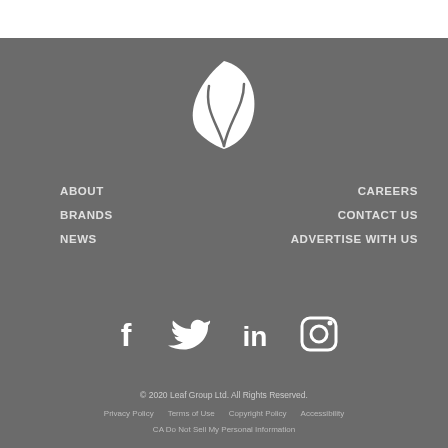[Figure (logo): Leaf Group white leaf logo icon on grey background]
ABOUT
BRANDS
NEWS
CAREERS
CONTACT US
ADVERTISE WITH US
[Figure (illustration): Social media icons row: Facebook, Twitter, LinkedIn, Instagram — white icons on grey background]
© 2020 Leaf Group Ltd. All Rights Reserved.
Privacy Policy   Terms of Use   Copyright Policy   Accessibility
CA Do Not Sell My Personal Information